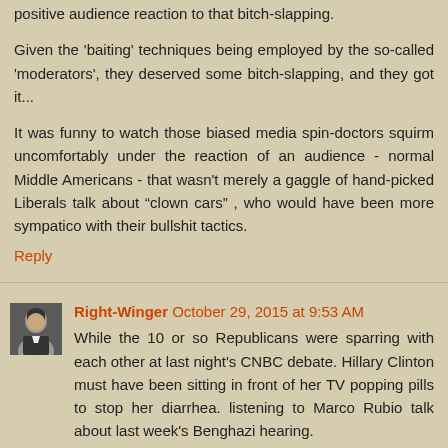positive audience reaction to that bitch-slapping.
Given the 'baiting' techniques being employed by the so-called 'moderators', they deserved some bitch-slapping, and they got it...
It was funny to watch those biased media spin-doctors squirm uncomfortably under the reaction of an audience - normal Middle Americans - that wasn't merely a gaggle of hand-picked Liberals talk about “clown cars” , who would have been more sympatico with their bullshit tactics.
Reply
Right-Winger October 29, 2015 at 9:53 AM
While the 10 or so Republicans were sparring with each other at last night's CNBC debate. Hillary Clinton must have been sitting in front of her TV popping pills to stop her diarrhea. listening to Marco Rubio talk about last week's Benghazi hearing.
She will be branded LIAR for the remainder of her political life